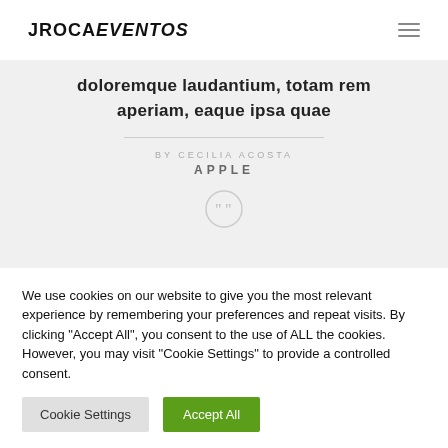JROCAEVENTOS
doloremque laudantium, totam rem aperiam, eaque ipsa quae
BY CECILIA ACOSTA
APPLE
We use cookies on our website to give you the most relevant experience by remembering your preferences and repeat visits. By clicking “Accept All”, you consent to the use of ALL the cookies. However, you may visit “Cookie Settings” to provide a controlled consent.